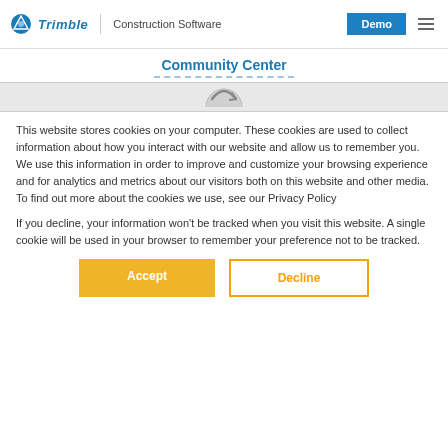Trimble Construction Software | Demo
Community Center
[Figure (other): Partial circle/arrow icon in gray band]
This website stores cookies on your computer. These cookies are used to collect information about how you interact with our website and allow us to remember you. We use this information in order to improve and customize your browsing experience and for analytics and metrics about our visitors both on this website and other media. To find out more about the cookies we use, see our Privacy Policy
If you decline, your information won't be tracked when you visit this website. A single cookie will be used in your browser to remember your preference not to be tracked.
Accept | Decline